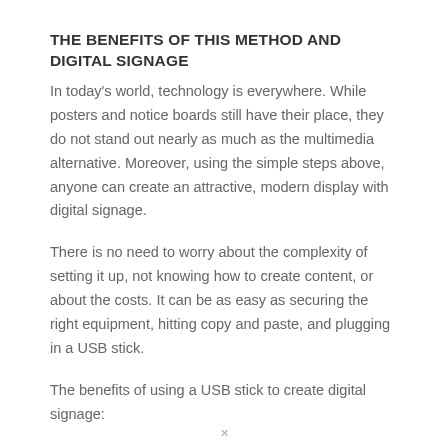THE BENEFITS OF THIS METHOD AND DIGITAL SIGNAGE
In today's world, technology is everywhere. While posters and notice boards still have their place, they do not stand out nearly as much as the multimedia alternative. Moreover, using the simple steps above, anyone can create an attractive, modern display with digital signage.
There is no need to worry about the complexity of setting it up, not knowing how to create content, or about the costs. It can be as easy as securing the right equipment, hitting copy and paste, and plugging in a USB stick.
The benefits of using a USB stick to create digital signage: